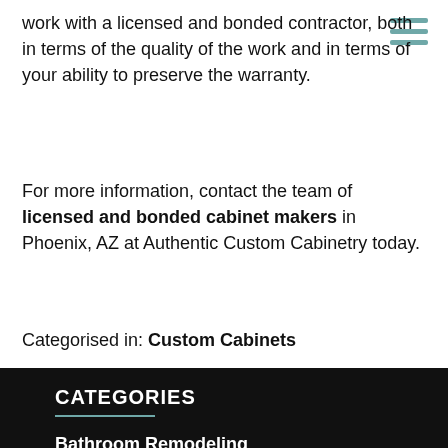work with a licensed and bonded contractor, both in terms of the quality of the work and in terms of your ability to preserve the warranty.
For more information, contact the team of licensed and bonded cabinet makers in Phoenix, AZ at Authentic Custom Cabinetry today.
Categorised in: Custom Cabinets
CATEGORIES
Bathroom Remodeling
Cabinet Hardware
Cabinet Makers
Cabinet Quality
Custom Cabinets